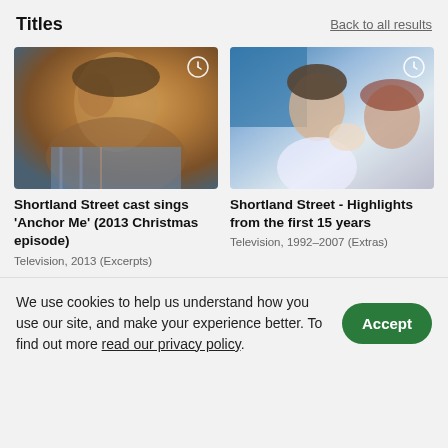Titles
Back to all results
[Figure (photo): Close-up of a man looking up, warm outdoor lighting, Shortland Street cast member]
Shortland Street cast sings 'Anchor Me' (2013 Christmas episode)
Television, 2013 (Excerpts)
[Figure (photo): A man and woman smiling at a newborn baby indoors, hospital setting, Shortland Street]
Shortland Street - Highlights from the first 15 years
Television, 1992–2007 (Extras)
We use cookies to help us understand how you use our site, and make your experience better. To find out more read our privacy policy.